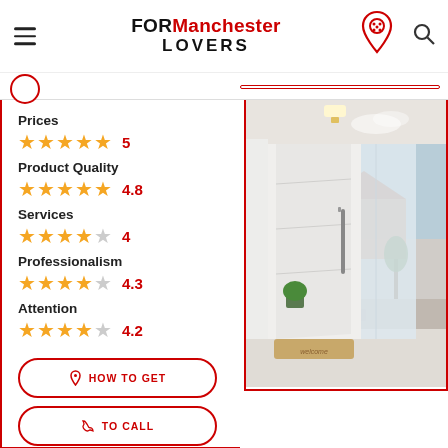FOR Manchester LOVERS
Prices ★★★★★ 5
Product Quality ★★★★★ 4.8
Services ★★★★☆ 4
Professionalism ★★★★☆ 4.3
Attention ★★★★☆ 4.2
[Figure (photo): White modern front door open, showing a driveway with trees in background]
HOW TO GET
TO CALL